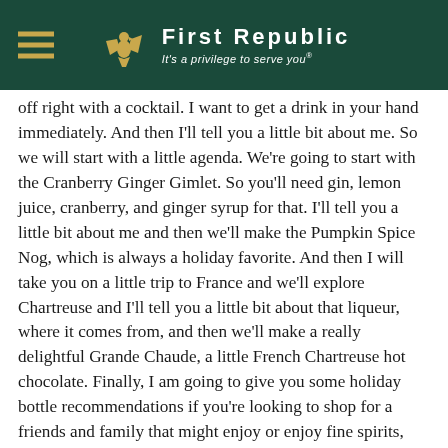First Republic — It's a privilege to serve you®
off right with a cocktail. I want to get a drink in your hand immediately. And then I'll tell you a little bit about me. So we will start with a little agenda. We're going to start with the Cranberry Ginger Gimlet. So you'll need gin, lemon juice, cranberry, and ginger syrup for that. I'll tell you a little bit about me and then we'll make the Pumpkin Spice Nog, which is always a holiday favorite. And then I will take you on a little trip to France and we'll explore Chartreuse and I'll tell you a little bit about that liqueur, where it comes from, and then we'll make a really delightful Grande Chaude, a little French Chartreuse hot chocolate. Finally, I am going to give you some holiday bottle recommendations if you're looking to shop for a friends and family that might enjoy or enjoy fine spirits, and then, you know, there'll be a chance for Q&A and interruption all the way along. But one other note, I do have a camera there and a screen here. So forgive my eyeline for bouncing around a little bit, but I'm here with you.
So let's start off with a Cranberry Ginger Gimlet. So I'm